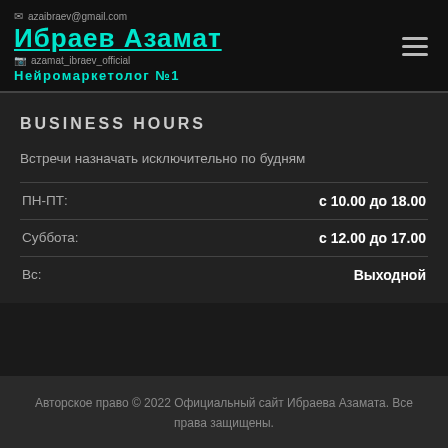azaibraev@gmail.com | Ибраев Азамат | Нейромаркетолог №1
BUSINESS HOURS
Встречи назначать исключительно по будням
| День | Часы |
| --- | --- |
| ПН-ПТ: | с 10.00 до 18.00 |
| Суббота: | с 12.00 до 17.00 |
| Вс: | Выходной |
Авторское право © 2022 Официальный сайт Ибраева Азамата. Все права защищены.